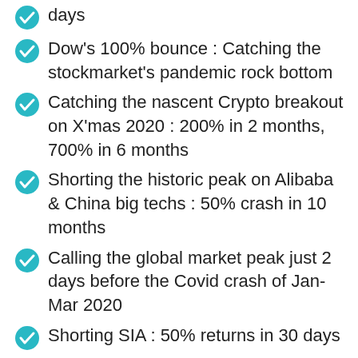days
Dow's 100% bounce : Catching the stockmarket's pandemic rock bottom
Catching the nascent Crypto breakout on X'mas 2020 : 200% in 2 months, 700% in 6 months
Shorting the historic peak on Alibaba & China big techs : 50% crash in 10 months
Calling the global market peak just 2 days before the Covid crash of Jan-Mar 2020
Shorting SIA : 50% returns in 30 days